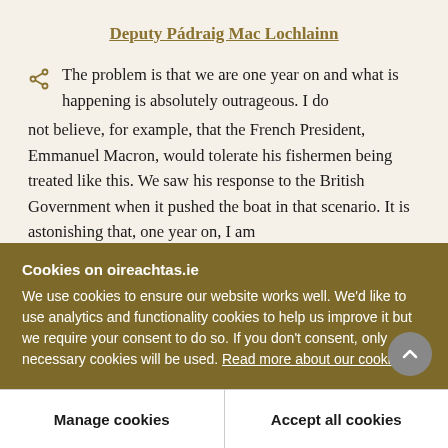Deputy Pádraig Mac Lochlainn
The problem is that we are one year on and what is happening is absolutely outrageous. I do not believe, for example, that the French President, Emmanuel Macron, would tolerate his fishermen being treated like this. We saw his response to the British Government when it pushed the boat in that scenario. It is astonishing that, one year on, I am
Cookies on oireachtas.ie
We use cookies to ensure our website works well. We'd like to use analytics and functionality cookies to help us improve it but we require your consent to do so. If you don't consent, only necessary cookies will be used. Read more about our cookies
Manage cookies
Accept all cookies